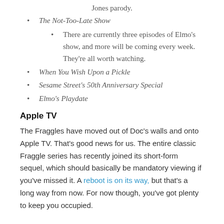Jones parody.
The Not-Too-Late Show
There are currently three episodes of Elmo's show, and more will be coming every week. They're all worth watching.
When You Wish Upon a Pickle
Sesame Street's 50th Anniversary Special
Elmo's Playdate
Apple TV
The Fraggles have moved out of Doc's walls and onto Apple TV. That's good news for us. The entire classic Fraggle series has recently joined its short-form sequel, which should basically be mandatory viewing if you've missed it. A reboot is on its way, but that's a long way from now. For now though, you've got plenty to keep you occupied.